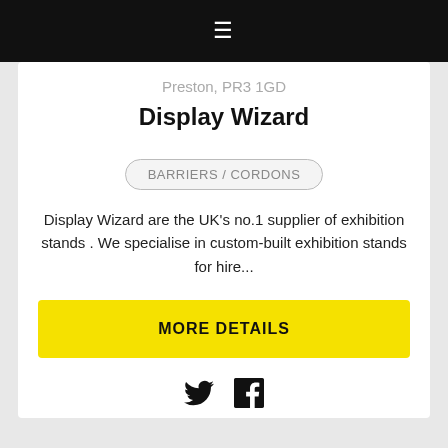≡
Preston, PR3 1GD
Display Wizard
BARRIERS / CORDONS
Display Wizard are the UK's no.1 supplier of exhibition stands . We specialise in custom-built exhibition stands for hire...
MORE DETAILS
[Figure (other): Twitter and Facebook social media icons]